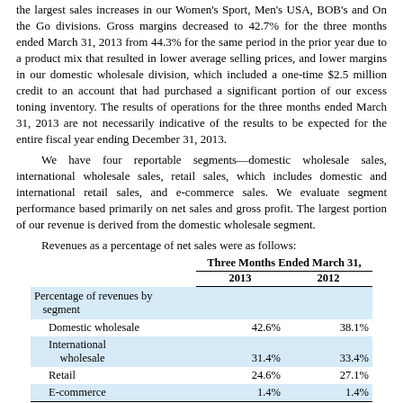the largest sales increases in our Women's Sport, Men's USA, BOB's and On the Go divisions. Gross margins decreased to 42.7% for the three months ended March 31, 2013 from 44.3% for the same period in the prior year due to a product mix that resulted in lower average selling prices, and lower margins in our domestic wholesale division, which included a one-time $2.5 million credit to an account that had purchased a significant portion of our excess toning inventory. The results of operations for the three months ended March 31, 2013 are not necessarily indicative of the results to be expected for the entire fiscal year ending December 31, 2013.
We have four reportable segments—domestic wholesale sales, international wholesale sales, retail sales, which includes domestic and international retail sales, and e-commerce sales. We evaluate segment performance based primarily on net sales and gross profit. The largest portion of our revenue is derived from the domestic wholesale segment.
Revenues as a percentage of net sales were as follows:
|  | Three Months Ended March 31, 2013 | Three Months Ended March 31, 2012 |
| --- | --- | --- |
| Percentage of revenues by segment |  |  |
| Domestic wholesale | 42.6% | 38.1% |
| International wholesale | 31.4% | 33.4% |
| Retail | 24.6% | 27.1% |
| E-commerce | 1.4% | 1.4% |
| Total | 100% | 100% |
As of March 31, 2013, we owned 299 domestic retail stores and 54